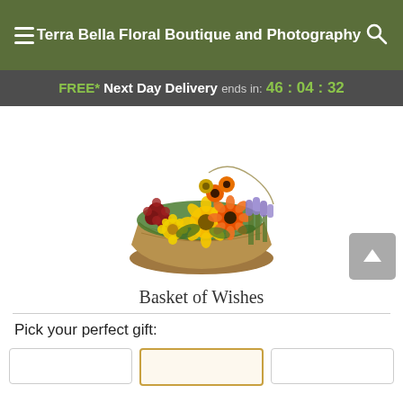Terra Bella Floral Boutique and Photography
FREE* Next Day Delivery ends in: 46:04:32
[Figure (photo): A colorful flower basket arrangement featuring sunflowers, orange gerbera daisies, yellow flowers, dark red flowers, and purple lavender stems in a woven basket.]
Basket of Wishes
Pick your perfect gift: